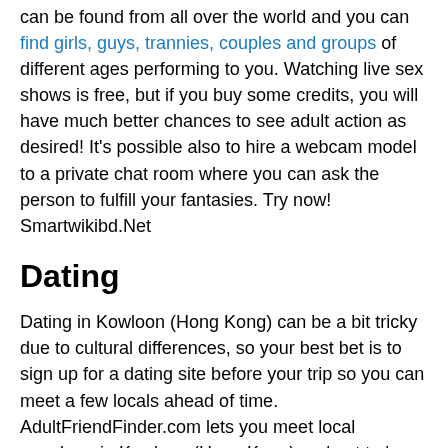can be found from all over the world and you can find girls, guys, trannies, couples and groups of different ages performing to you. Watching live sex shows is free, but if you buy some credits, you will have much better chances to see adult action as desired! It's possible also to hire a webcam model to a private chat room where you can ask the person to fulfill your fantasies. Try now! Smartwikibd.Net
Dating
Dating in Kowloon (Hong Kong) can be a bit tricky due to cultural differences, so your best bet is to sign up for a dating site before your trip so you can meet a few locals ahead of time. AdultFriendFinder.com lets you meet local members in Kowloon (Hong Kong) and get to know them on a personal basis before you arrive. Take advantage of site features like live chat and member to member webcams so you can begin flirting before arranging a face-to-face meeting. Since your time in Kowloon (Hong Kong) may be limited, get to know each other's desires beforehand, so that when you meet you can start having some